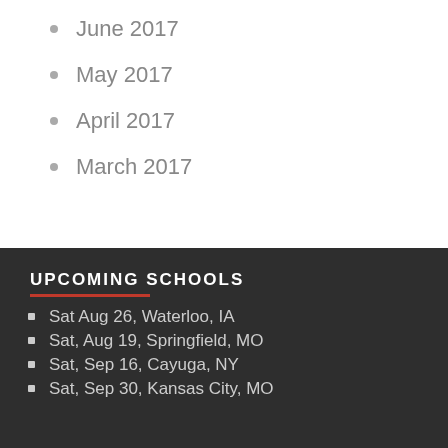June 2017
May 2017
April 2017
March 2017
UPCOMING SCHOOLS
Sat Aug 26, Waterloo, IA
Sat, Aug 19, Springfield, MO
Sat, Sep 16, Cayuga, NY
Sat, Sep 30, Kansas City, MO